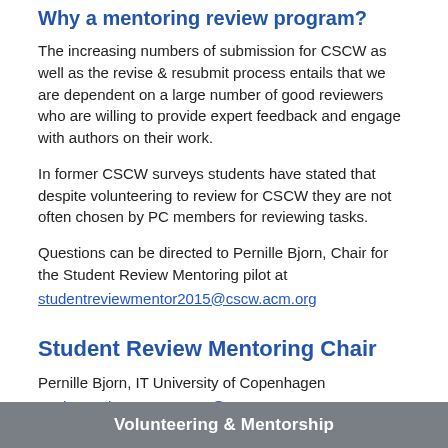Why a mentoring review program?
The increasing numbers of submission for CSCW as well as the revise & resubmit process entails that we are dependent on a large number of good reviewers who are willing to provide expert feedback and engage with authors on their work.
In former CSCW surveys students have stated that despite volunteering to review for CSCW they are not often chosen by PC members for reviewing tasks.
Questions can be directed to Pernille Bjorn, Chair for the Student Review Mentoring pilot at studentreviewmentor2015@cscw.acm.org
Student Review Mentoring Chair
Pernille Bjorn, IT University of Copenhagen
studentreviewmentor2015@cscw.acm.org
Volunteering & Mentorship